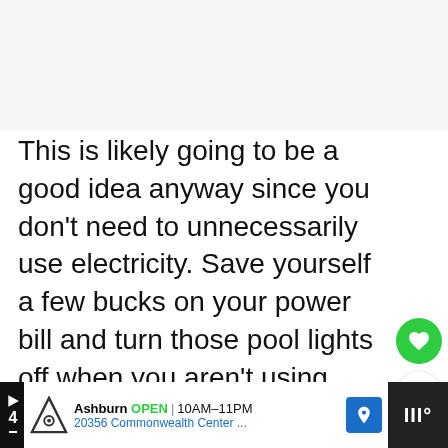[Figure (other): Blank light gray image placeholder area at the top of the page]
This is likely going to be a good idea anyway since you don't need to unnecessarily use electricity. Save yourself a few bucks on your power bill and turn those pool lights off when you aren't using them.
[Figure (other): Green circular heart/favorite button]
[Figure (other): White circular share button with share icon]
[Figure (other): What's Next widget showing thumbnail and text: How to Keep Cats From...]
[Figure (other): Advertisement bar at bottom: Topgolf Ashburn OPEN 10AM-11PM 20356 Commonwealth Center...]